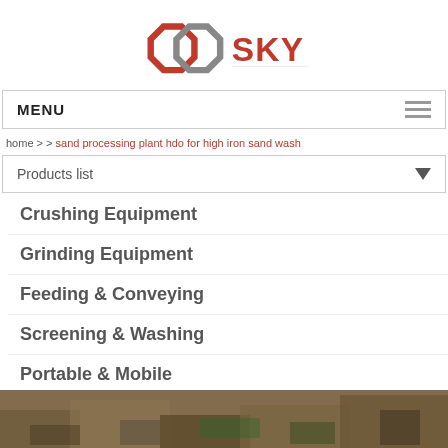[Figure (logo): GD SKY company logo with red and grey interlocked octagon shapes and red SKY text]
MENU
home > > sand processing plant hdo for high iron sand wash
Products list
Crushing Equipment
Grinding Equipment
Feeding & Conveying
Screening & Washing
Portable & Mobile
Beneficiation Equipment
[Figure (photo): Partial view of industrial mining or sand processing equipment/site at the bottom of the page]